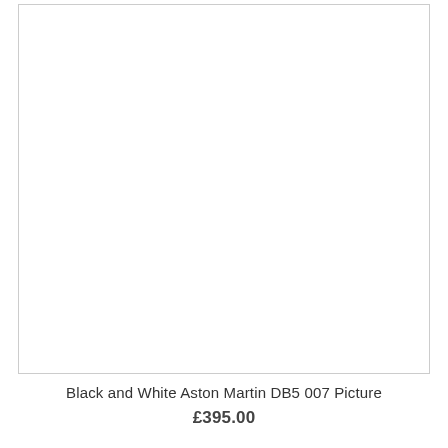[Figure (photo): White/blank product image area with border, showing no visible image content (white rectangle with light border)]
Black and White Aston Martin DB5 007 Picture
£395.00